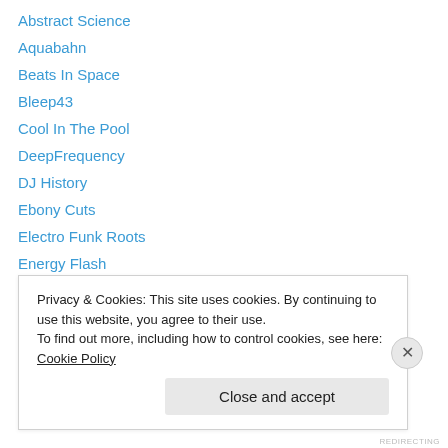Abstract Science
Aquabahn
Beats In Space
Bleep43
Cool In The Pool
DeepFrequency
DJ History
Ebony Cuts
Electro Funk Roots
Energy Flash
Environ Records
Home Cookin'
Infinite State Machine
Privacy & Cookies: This site uses cookies. By continuing to use this website, you agree to their use.
To find out more, including how to control cookies, see here: Cookie Policy
Close and accept
REDIRECTING